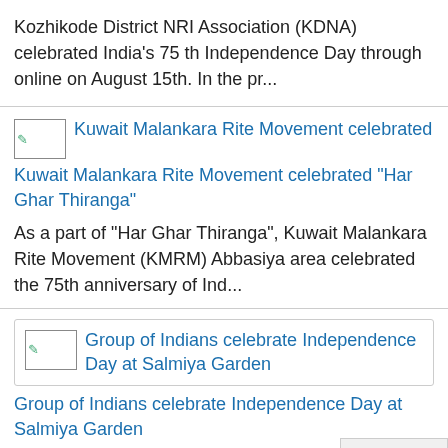Kozhikode District NRI Association (KDNA) celebrated India's 75 th Independence Day through online on August 15th. In the pr...
Kuwait Malankara Rite Movement celebrated "Har Ghar Thiranga"
As a part of "Har Ghar Thiranga", Kuwait Malankara Rite Movement (KMRM) Abbasiya area celebrated the 75th anniversary of Ind...
Group of Indians celebrate Independence Day at Salmiya Garden
A group of Indians from different walks of life celebrate India's Independence Day at the Salmiya Ga patriotism. A ...